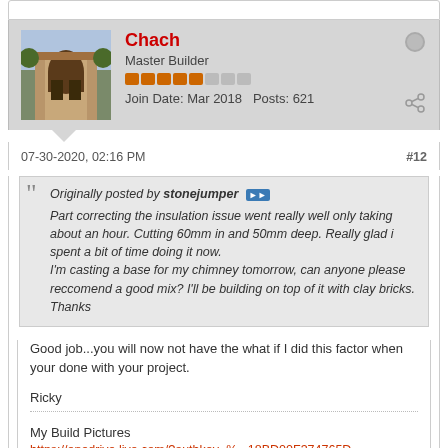Chach | Master Builder | Join Date: Mar 2018 | Posts: 621
07-30-2020, 02:16 PM  #12
Originally posted by stonejumper
Part correcting the insulation issue went really well only taking about an hour. Cutting 60mm in and 50mm deep. Really glad i spent a bit of time doing it now.
I'm casting a base for my chimney tomorrow, can anyone please reccomend a good mix? I'll be building on top of it with clay bricks. Thanks
Good job...you will now not have the what if I did this factor when your done with your project.
Ricky
My Build Pictures
https://onedrive.live.com/?authkey=%...18BD00F374765D